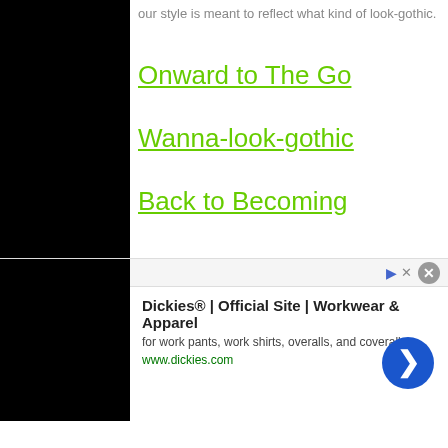our style is meant to reflect what kind of look-gothic.
Onward to The Go...
Wanna-look-gothic...
Back to Becoming...
[Figure (screenshot): Infolinks advertisement badge overlay on black left panel]
[Figure (screenshot): Ad banner: Dickies Official Site Workwear and Apparel - for work pants, work shirts, overalls, and coveralls. www.dickies.com with blue circle arrow button]